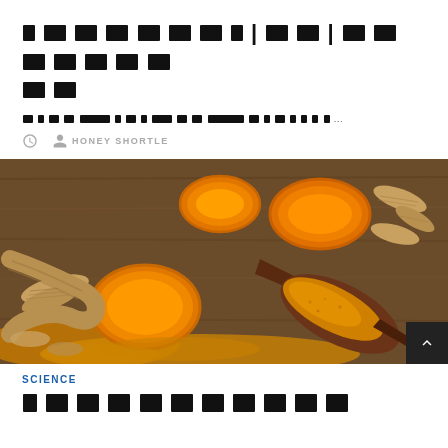[Redacted title text in Korean/blocked characters]
[Redacted excerpt text] ...
HONEY SHORTLE
[Figure (photo): Photograph of turmeric roots and turmeric powder on a wooden spoon against a wooden background. The roots are shown whole and sliced, revealing bright orange interior. Orange-gold powder is piled on a dark wooden spoon.]
SCIENCE
[Redacted bottom title text in blocked characters]